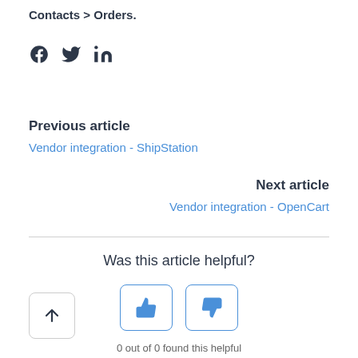Contacts > Orders.
[Figure (illustration): Social media icons: Facebook, Twitter, LinkedIn]
Previous article
Vendor integration - ShipStation
Next article
Vendor integration - OpenCart
Was this article helpful?
[Figure (illustration): Thumbs up and thumbs down feedback buttons]
[Figure (illustration): Scroll to top arrow button]
0 out of 0 found this helpful